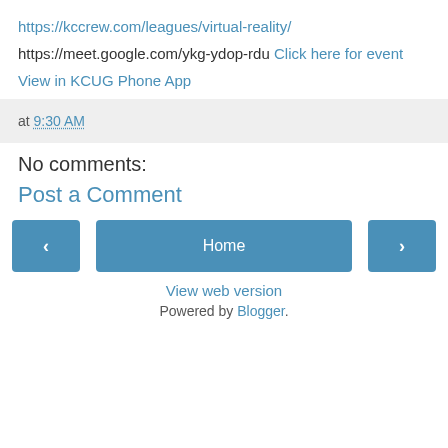https://kccrew.com/leagues/virtual-reality/
https://meet.google.com/ykg-ydop-rdu Click here for event
View in KCUG Phone App
at 9:30 AM
No comments:
Post a Comment
‹
Home
›
View web version
Powered by Blogger.